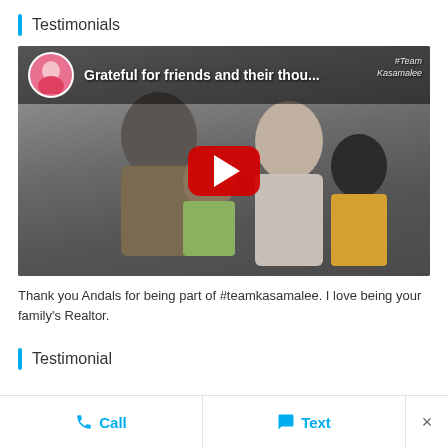Testimonials
[Figure (screenshot): YouTube video thumbnail showing a family of four — a man holding a toddler, a woman holding a child wearing a skull mask — with a circular avatar of a woman in pink in the top left, the video title 'Grateful for friends and their thou...' overlaid in white text, a #TeamKasamalee watermark in the top right, and a red YouTube play button in the center.]
Thank you Andals for being part of #teamkasamalee. I love being your family's Realtor.
Testimonial
Call   Text   ×